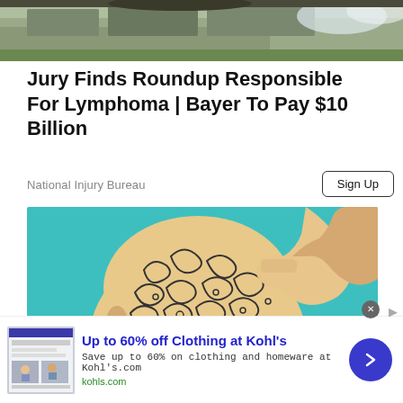[Figure (photo): Top strip showing outdoor/nature scene with rocks and grass, partially cropped]
Jury Finds Roundup Responsible For Lymphoma | Bayer To Pay $10 Billion
National Injury Bureau
Sign Up
[Figure (illustration): Stylized illustration of a bald person scratching their head with decorative swirling patterns on the scalp, teal background]
Up to 60% off Clothing at Kohl's
Save up to 60% on clothing and homeware at Kohl's.com
kohls.com